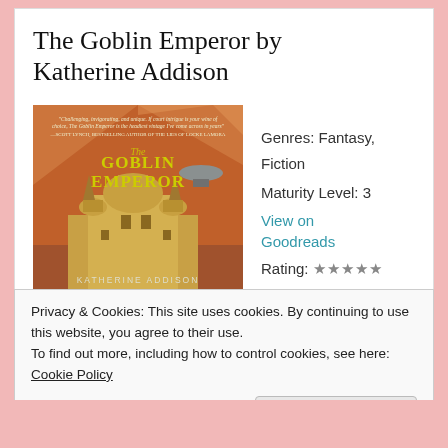The Goblin Emperor by Katherine Addison
[Figure (photo): Book cover of The Goblin Emperor by Katherine Addison, showing a fantasy castle/palace and airship on a reddish-brown background with gold lettering]
Genres: Fantasy, Fiction
Maturity Level: 3
View on Goodreads
Rating: ★★★★★
Privacy & Cookies: This site uses cookies. By continuing to use this website, you agree to their use.
To find out more, including how to control cookies, see here: Cookie Policy
Close and accept